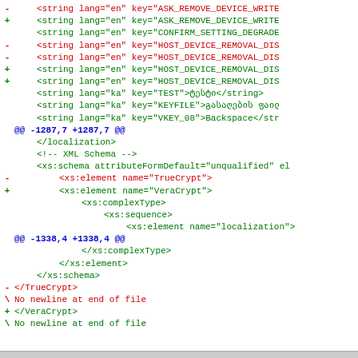- <string lang="en" key="ASK_REMOVE_DEVICE_WRITE...
+ <string lang="en" key="ASK_REMOVE_DEVICE_WRITE...
<string lang="en" key="CONFIRM_SETTING_DEGRADE...
- <string lang="en" key="HOST_DEVICE_REMOVAL_DIS...
- <string lang="en" key="HOST_DEVICE_REMOVAL_DIS...
+ <string lang="en" key="HOST_DEVICE_REMOVAL_DIS...
+ <string lang="en" key="HOST_DEVICE_REMOVAL_DIS...
<string lang="ka" key="TEST">ტესტი</string>
<string lang="ka" key="KEYFILE">გასაღების ფაილ...
<string lang="ka" key="VKEY_08">Backspace</str...
@@ -1287,7 +1287,7 @@
</localization>
<!-- XML Schema -->
<xs:schema attributeFormDefault="unqualified" el...
- <xs:element name="TrueCrypt">
+ <xs:element name="VeraCrypt">
<xs:complexType>
<xs:sequence>
<xs:element name="localization">
@@ -1338,4 +1338,4 @@
</xs:complexType>
</xs:element>
</xs:schema>
-</TrueCrypt>
\ No newline at end of file
+</VeraCrypt>
\ No newline at end of file